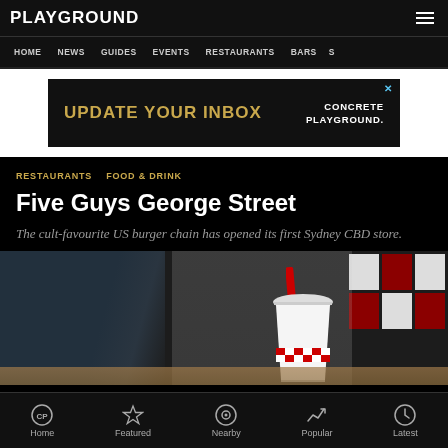PLAYGROUND
HOME  NEWS  GUIDES  EVENTS  RESTAURANTS  BARS  S
[Figure (other): Advertisement banner: UPDATE YOUR INBOX / CONCRETE PLAYGROUND.]
RESTAURANTS  FOOD & DRINK
Five Guys George Street
The cult-favourite US burger chain has opened its first Sydney CBD store.
[Figure (photo): Interior photo of Five Guys restaurant showing a drink cup with red straw and red/white tile decor in background.]
Home  Featured  Nearby  Popular  Latest